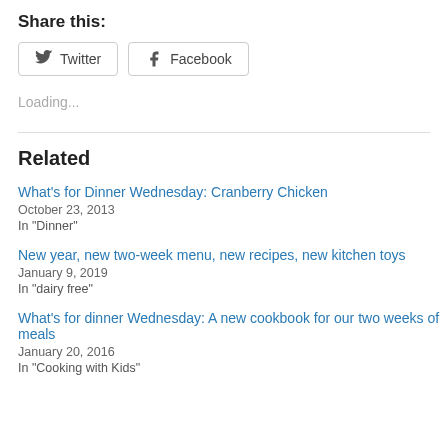Share this:
Twitter  Facebook
Loading...
Related
What's for Dinner Wednesday: Cranberry Chicken
October 23, 2013
In "Dinner"
New year, new two-week menu, new recipes, new kitchen toys
January 9, 2019
In "dairy free"
What's for dinner Wednesday: A new cookbook for our two weeks of meals
January 20, 2016
In "Cooking with Kids"